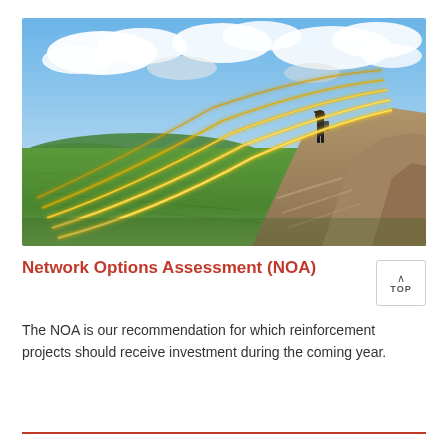[Figure (photo): A person standing on a rocky cliff edge overlooking a wide green valley landscape under a partly cloudy sky. Glowing golden light streaks arc across the scene resembling wireless signal waves emanating from the cliff.]
Network Options Assessment (NOA)
The NOA is our recommendation for which reinforcement projects should receive investment during the coming year.